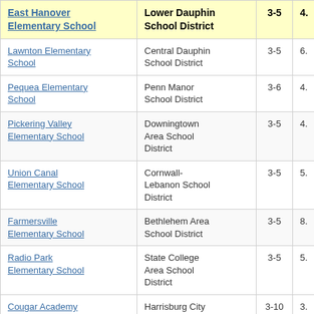| School | District | Grades | Score |
| --- | --- | --- | --- |
| East Hanover Elementary School | Lower Dauphin School District | 3-5 | 4. |
| Lawnton Elementary School | Central Dauphin School District | 3-5 | 6. |
| Pequea Elementary School | Penn Manor School District | 3-6 | 4. |
| Pickering Valley Elementary School | Downingtown Area School District | 3-5 | 4. |
| Union Canal Elementary School | Cornwall-Lebanon School District | 3-5 | 5. |
| Farmersville Elementary School | Bethlehem Area School District | 3-5 | 8. |
| Radio Park Elementary School | State College Area School District | 3-5 | 5. |
| Cougar Academy | Harrisburg City School District | 3-10 | 3. |